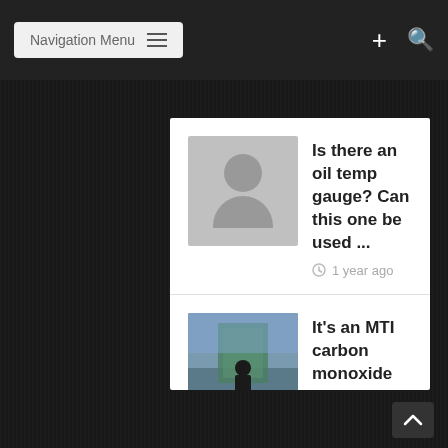Navigation Menu
Is there an oil temp gauge? Can this one be used ... 1 year ago
It's an MTI carbon monoxide and propane detector. 2 years ago
I saw something in one of the photos that I would... 2 years ago